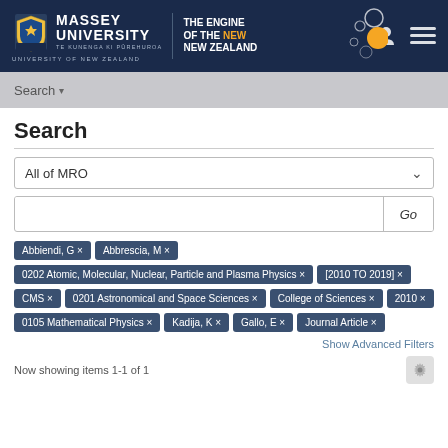[Figure (logo): Massey University logo with crest, university name, and 'The Engine of the New New Zealand' tagline with decorative bubbles]
Search ▾
Search
All of MRO
Go
Abbiendi, G ×
Abbrescia, M ×
0202 Atomic, Molecular, Nuclear, Particle and Plasma Physics ×
[2010 TO 2019] ×
CMS ×
0201 Astronomical and Space Sciences ×
College of Sciences ×
2010 ×
0105 Mathematical Physics ×
Kadija, K ×
Gallo, E ×
Journal Article ×
Show Advanced Filters
Now showing items 1-1 of 1